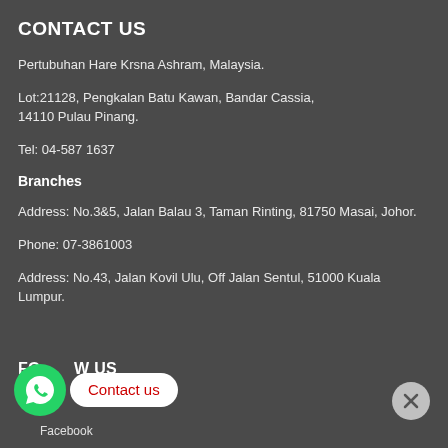CONTACT US
Pertubuhan Hare Krsna Ashram, Malaysia.
Lot:21128, Pengkalan Batu Kawan, Bandar Cassia, 14110 Pulau Pinang.
Tel: 04-587 1637
Branches
Address: No.3&5, Jalan Balau 3, Taman Rinting, 81750 Masai, Johor.
Phone: 07-3861003
Address: No.43, Jalan Kovil Ulu, Off Jalan Sentul, 51000 Kuala Lumpur.
FOLLOW US
Facebook